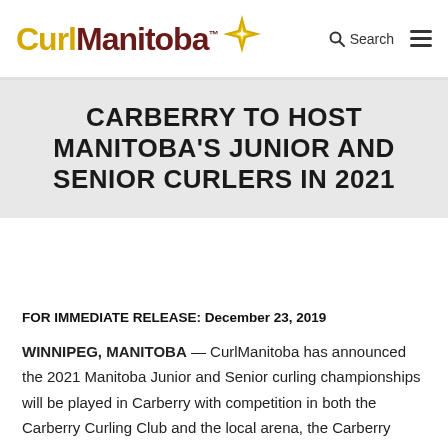CurlManitoba
CARBERRY TO HOST MANITOBA'S JUNIOR AND SENIOR CURLERS IN 2021
FOR IMMEDIATE RELEASE: December 23, 2019
WINNIPEG, MANITOBA — CurlManitoba has announced the 2021 Manitoba Junior and Senior curling championships will be played in Carberry with competition in both the Carberry Curling Club and the local arena, the Carberry Plains